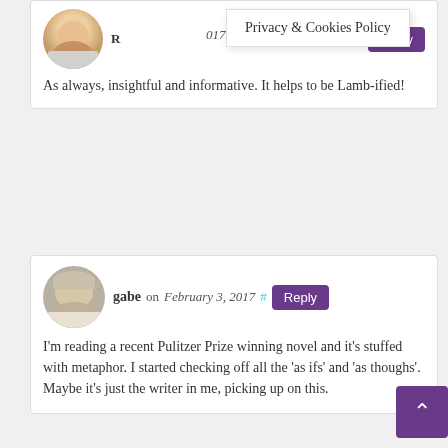[Figure (screenshot): Privacy & Cookies Policy popup overlay]
As always, insightful and informative. It helps to be Lamb-ified!
gabe on February 3, 2017
I'm reading a recent Pulitzer Prize winning novel and it's stuffed with metaphor. I started checking off all the 'as ifs' and 'as thoughs'. Maybe it's just the writer in me, picking up on this.
Jon Chaisson on February 3, 2017
TFW you *just* finished editing a trilogy you've been working on for years — including self-editing — and once done, came upon this blog and breathing a sigh of relief and amusement that you did it correctly.